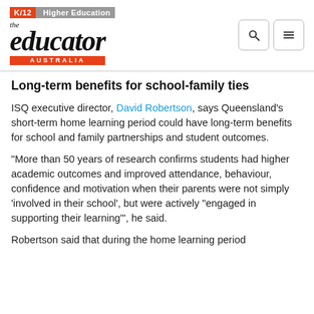K/12  Higher Education — the educator AUSTRALIA
Long-term benefits for school-family ties
ISQ executive director, David Robertson, says Queensland's short-term home learning period could have long-term benefits for school and family partnerships and student outcomes.
“More than 50 years of research confirms students had higher academic outcomes and improved attendance, behaviour, confidence and motivation when their parents were not simply ‘involved in their school’, but were actively “engaged in supporting their learning’”, he said.
Robertson said that during the home learning period